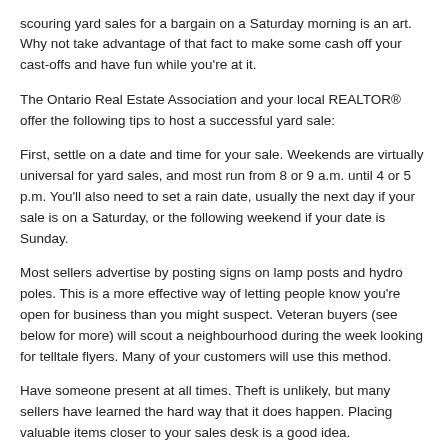scouring yard sales for a bargain on a Saturday morning is an art. Why not take advantage of that fact to make some cash off your cast-offs and have fun while you're at it.
The Ontario Real Estate Association and your local REALTOR® offer the following tips to host a successful yard sale:
First, settle on a date and time for your sale. Weekends are virtually universal for yard sales, and most run from 8 or 9 a.m. until 4 or 5 p.m. You'll also need to set a rain date, usually the next day if your sale is on a Saturday, or the following weekend if your date is Sunday.
Most sellers advertise by posting signs on lamp posts and hydro poles. This is a more effective way of letting people know you're open for business than you might suspect. Veteran buyers (see below for more) will scout a neighbourhood during the week looking for telltale flyers. Many of your customers will use this method.
Have someone present at all times. Theft is unlikely, but many sellers have learned the hard way that it does happen. Placing valuable items closer to your sales desk is a good idea.